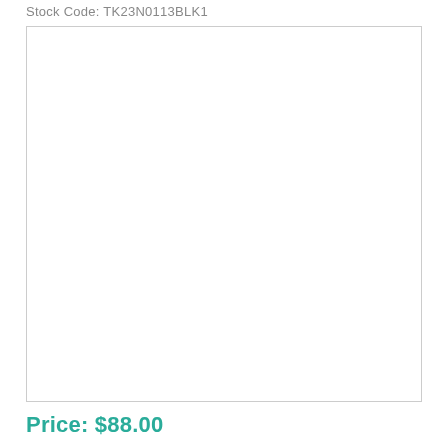Stock Code: TK23N0113BLK1
[Figure (photo): Empty white image placeholder box with light gray border]
Price: $88.00